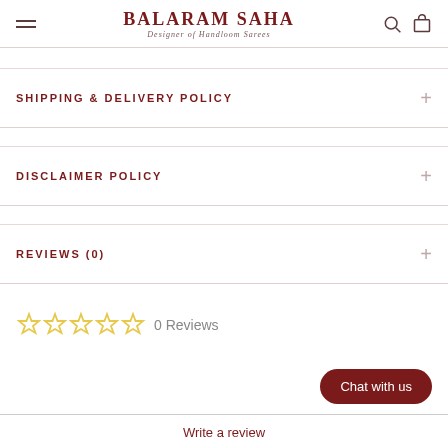BALARAM SAHA — Designer of Handloom Sarees
SHIPPING & DELIVERY POLICY
DISCLAIMER POLICY
REVIEWS (0)
0 Reviews
Chat with us
Write a review